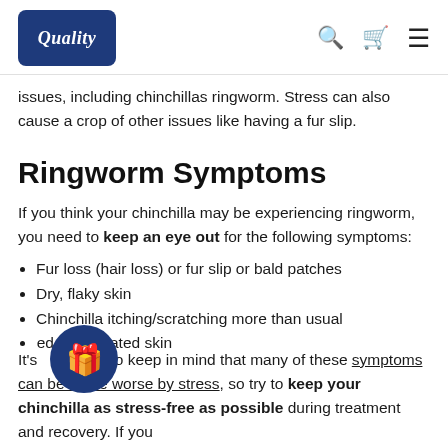Quality [logo] [search icon] [cart icon] [menu icon]
issues, including chinchillas ringworm. Stress can also cause a crop of other issues like having a fur slip.
Ringworm Symptoms
If you think your chinchilla may be experiencing ringworm, you need to keep an eye out for the following symptoms:
Fur loss (hair loss) or fur slip or bald patches
Dry, flaky skin
Chinchilla itching/scratching more than usual
Red and irritated skin
It's important to keep in mind that many of these symptoms can be made worse by stress, so try to keep your chinchilla as stress-free as possible during treatment and recovery. If you